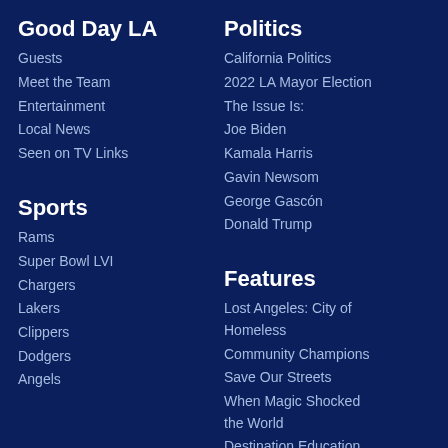Good Day LA
Guests
Meet the Team
Entertainment
Local News
Seen on TV Links
Politics
California Politics
2022 LA Mayor Election
The Issue Is:
Joe Biden
Kamala Harris
Gavin Newsom
George Gascón
Donald Trump
Sports
Rams
Super Bowl LVI
Chargers
Lakers
Clippers
Dodgers
Angels
Features
Lost Angeles: City of Homeless
Community Champions
Save Our Streets
When Magic Shocked the World
Destination Education